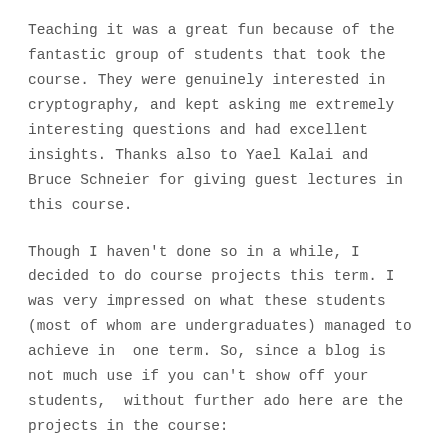Teaching it was a great fun because of the fantastic group of students that took the course. They were genuinely interested in cryptography, and kept asking me extremely interesting questions and had excellent insights. Thanks also to Yael Kalai and Bruce Schneier for giving guest lectures in this course.
Though I haven't done so in a while, I decided to do course projects this term. I was very impressed on what these students (most of whom are undergraduates) managed to achieve in  one term. So, since a blog is not much use if you can't show off your students,  without further ado here are the projects in the course: